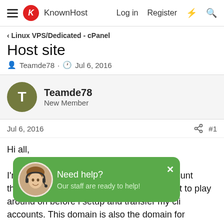KnownHost — Log in  Register
Linux VPS/Dedicated - cPanel
Host site
Teamde78 · Jul 6, 2016
Teamde78
New Member
Jul 6, 2016  #1
Hi all,

I'm new t... count through WHM (this is my domain name) just to play around on before i setup and transfer my cli... accounts. This domain is also the domain for... t. (Host.mydomain.com). I managed to be able to setup the account so I can access it through cpanel, but I
[Figure (screenshot): Green popup chat widget with support agent avatar, text 'Need help? Our staff are ready to help!' and a close X button. Also a red circular chat button in the bottom right corner.]